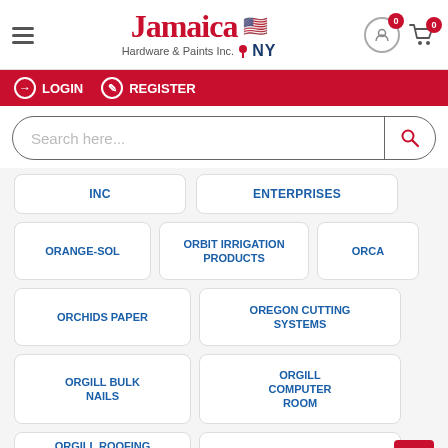Jamaica Hardware & Paints Inc. NY
LOGIN   REGISTER
Search here...
INC
ENTERPRISES
ORANGE-SOL
ORBIT IRRIGATION PRODUCTS
ORCA
ORCHIDS PAPER
OREGON CUTTING SYSTEMS
ORGILL BULK NAILS
ORGILL COMPUTER ROOM
ORGILL ROOFING FELT
OSRAM SYLVANIA